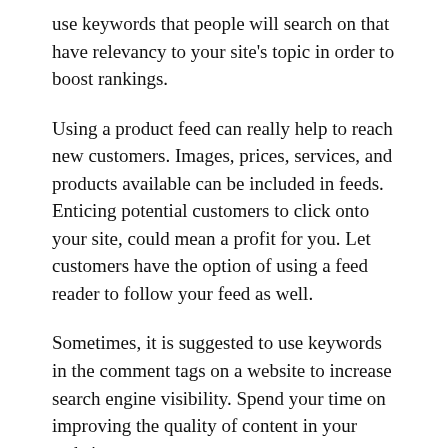use keywords that people will search on that have relevancy to your site's topic in order to boost rankings.
Using a product feed can really help to reach new customers. Images, prices, services, and products available can be included in feeds. Enticing potential customers to click onto your site, could mean a profit for you. Let customers have the option of using a feed reader to follow your feed as well.
Sometimes, it is suggested to use keywords in the comment tags on a website to increase search engine visibility. Spend your time on improving the quality of content in your website.
You may also wish to include the keywords within the title of the page. Your title should be attention-grabbing and relevant to your content, in addition to containing